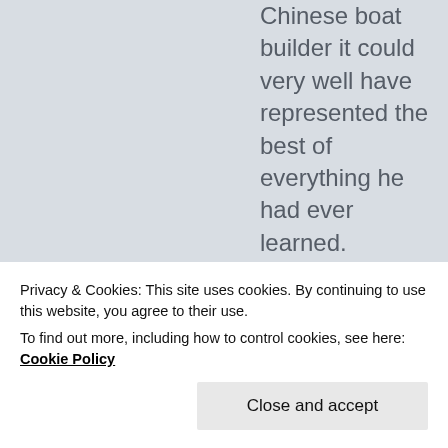Chinese boat builder it could very well have represented the best of everything he had ever learned.

Now fast forward to a couple of years ago:
Me to a provider

Essentially a
Privacy & Cookies: This site uses cookies. By continuing to use this website, you agree to their use.
To find out more, including how to control cookies, see here: Cookie Policy

Close and accept